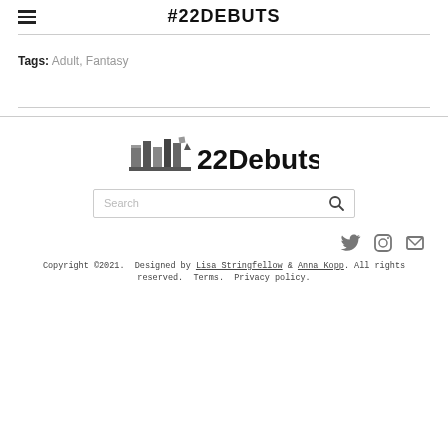#22DEBUTS
Tags: Adult, Fantasy
[Figure (logo): 22Debuts logo with bookshelf icon and bold text '22Debuts']
Search
Copyright ©2021. Designed by Lisa Stringfellow & Anna Kopp. All rights reserved. Terms. Privacy policy.